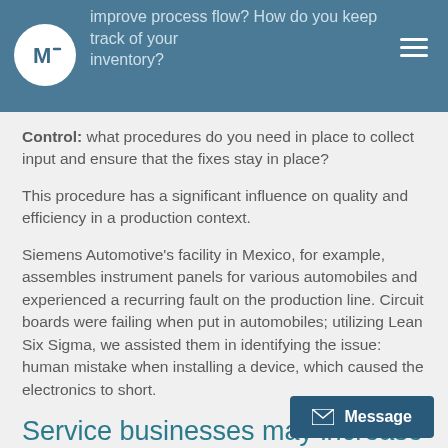improve process flow? How do you keep track of your inventory?
Control:  what procedures do you need in place to collect input and ensure that the fixes stay in place?
This procedure has a significant influence on quality and efficiency in a production context.
Siemens Automotive's facility in Mexico, for example, assembles instrument panels for various automobiles and experienced a recurring fault on the production line. Circuit boards were failing when put in automobiles; utilizing Lean Six Sigma, we assisted them in identifying the issue: human mistake when installing a device, which caused the electronics to short.
Service businesses may increase quality while also reducing